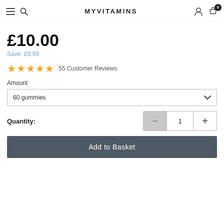MYVITAMINS
£10.00
Save: £9.99
★★★★★ 55 Customer Reviews
Amount
60 gummies
Quantity: 1
Add to Basket